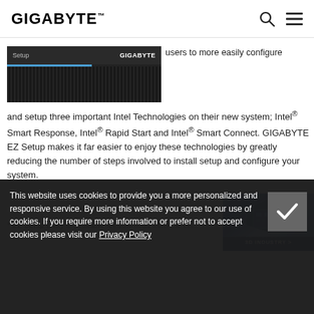GIGABYTE
[Figure (screenshot): GIGABYTE BIOS/Setup screen screenshot showing setup label and GIGABYTE branding on dark background with dot-matrix pattern]
users to more easily configure and setup three important Intel Technologies on their new system; Intel® Smart Response, Intel® Rapid Start and Intel® Smart Connect. GIGABYTE EZ Setup makes it far easier to enjoy these technologies by greatly reducing the number of steps involved to install setup and configure your system.
* EZ Setup utility is available for download from the off...
[Figure (illustration): 3D INDUSTRY banner with motherboard 3D illustration and blue gradient background]
This website uses cookies to provide you a more personalized and responsive service. By using this website you agree to our use of cookies. If you require more information or prefer not to accept cookies please visit our Privacy Policy